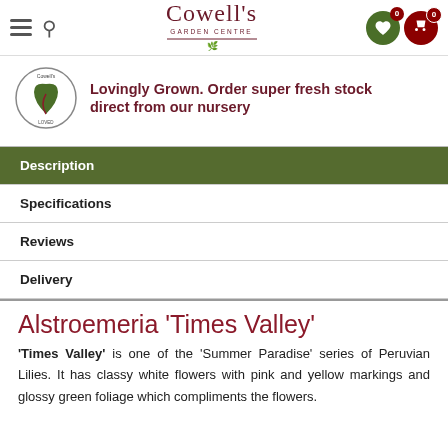Cowell's Garden Centre
Lovingly Grown. Order super fresh stock direct from our nursery
Description
Specifications
Reviews
Delivery
Alstroemeria 'Times Valley'
'Times Valley' is one of the 'Summer Paradise' series of Peruvian Lilies. It has classy white flowers with pink and yellow markings and glossy green foliage which compliments the flowers.